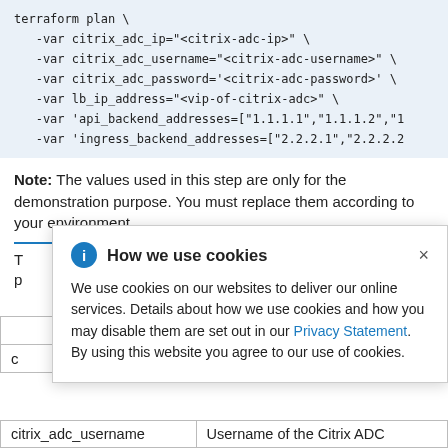terraform plan \
   -var citrix_adc_ip="<citrix-adc-ip>" \
   -var citrix_adc_username="<citrix-adc-username>" \
   -var citrix_adc_password='<citrix-adc-password>' \
   -var lb_ip_address="<vip-of-citrix-adc>" \
   -var 'api_backend_addresses=["1.1.1.1","1.1.1.2","1
   -var 'ingress_backend_addresses=["2.2.2.1","2.2.2.2
Note: The values used in this step are only for the demonstration purpose. You must replace them according to your environment.
T ... example is p ...
[Figure (screenshot): Cookie consent popup overlay with title 'How we use cookies', info icon, close X button, body text about cookie use with Privacy Statement link.]
|  | tion |
| --- | --- |
| c | ddress of the |
| citrix_adc_username | Username of the Citrix ADC |